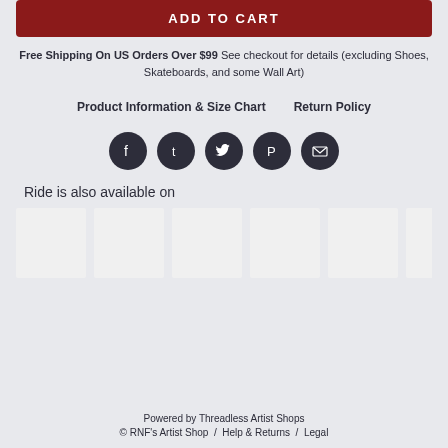ADD TO CART
Free Shipping On US Orders Over $99 See checkout for details (excluding Shoes, Skateboards, and some Wall Art)
Product Information & Size Chart    Return Policy
[Figure (infographic): Row of 5 dark circular social media icons: Facebook, Tumblr, Twitter, Pinterest, Email]
Ride is also available on
[Figure (other): Row of 6 blank white product thumbnail images]
Powered by Threadless Artist Shops © RNF's Artist Shop / Help & Returns / Legal